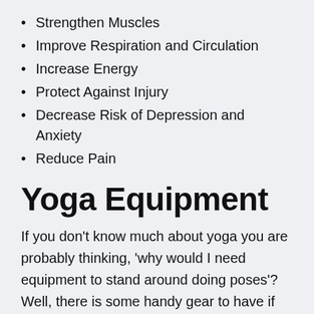Strengthen Muscles
Improve Respiration and Circulation
Increase Energy
Protect Against Injury
Decrease Risk of Depression and Anxiety
Reduce Pain
Yoga Equipment
If you don’t know much about yoga you are probably thinking, ‘why would I need equipment to stand around doing poses’? Well, there is some handy gear to have if you are going to give yoga a shot and can help you get the most out of it.